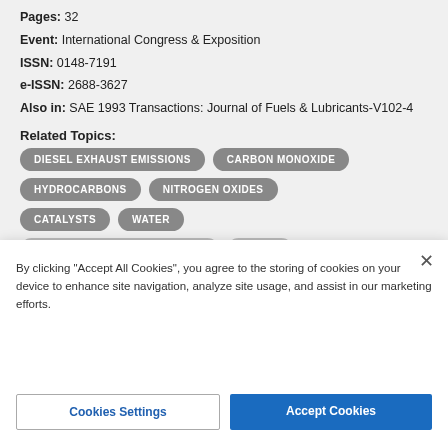Pages: 32
Event: International Congress & Exposition
ISSN: 0148-7191
e-ISSN: 2688-3627
Also in: SAE 1993 Transactions: Journal of Fuels & Lubricants-V102-4
Related Topics:
DIESEL EXHAUST EMISSIONS
CARBON MONOXIDE
HYDROCARBONS
NITROGEN OXIDES
CATALYSTS
WATER
RESEARCH AND DEVELOPMENT
GASES
By clicking "Accept All Cookies", you agree to the storing of cookies on your device to enhance site navigation, analyze site usage, and assist in our marketing efforts.
Cookies Settings
Accept Cookies
SAE MOBILUS
Subscribers can view and download all SAE MOBILUS content. Learn More
Access SAE MOBILUS »